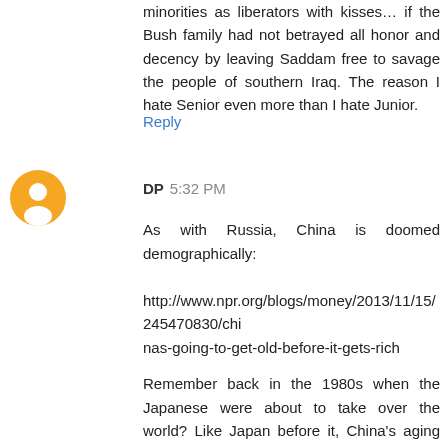minorities as liberators with kisses… if the Bush family had not betrayed all honor and decency by leaving Saddam free to savage the people of southern Iraq. The reason I hate Senior even more than I hate Junior.
Reply
[Figure (illustration): Orange circular blogger avatar icon with white person silhouette]
DP 5:32 PM
As with Russia, China is doomed demographically:

http://www.npr.org/blogs/money/2013/11/15/245470830/chinas-going-to-get-old-before-it-gets-rich

Remember back in the 1980s when the Japanese were about to take over the world? Like Japan before it, China's aging population will bring its economic growth to a grinding halt.

Of all the Great Powers (EU, Russia, China, Japan) only America has healthy demographics (relatively high birth rate and more friendly to immigration than any other